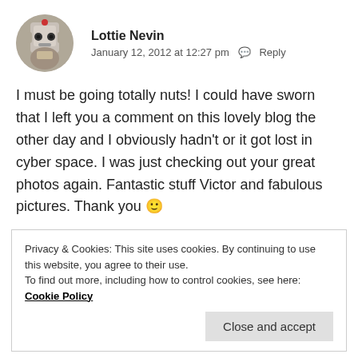[Figure (photo): Circular avatar photo of a robot/alien-like figure with silver and red coloring]
Lottie Nevin
January 12, 2012 at 12:27 pm  Reply
I must be going totally nuts! I could have sworn that I left you a comment on this lovely blog the other day and I obviously hadn't or it got lost in cyber space. I was just checking out your great photos again. Fantastic stuff Victor and fabulous pictures. Thank you 🙂
★ Like
Privacy & Cookies: This site uses cookies. By continuing to use this website, you agree to their use.
To find out more, including how to control cookies, see here: Cookie Policy
Close and accept